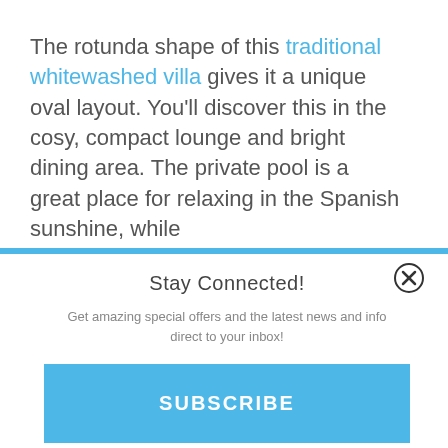The rotunda shape of this traditional whitewashed villa gives it a unique oval layout. You'll discover this in the cosy, compact lounge and bright dining area. The private pool is a great place for relaxing in the Spanish sunshine, while
Stay Connected!
Get amazing special offers and the latest news and info direct to your inbox!
SUBSCRIBE